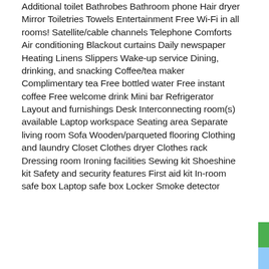Additional toilet Bathrobes Bathroom phone Hair dryer Mirror Toiletries Towels Entertainment Free Wi-Fi in all rooms! Satellite/cable channels Telephone Comforts Air conditioning Blackout curtains Daily newspaper Heating Linens Slippers Wake-up service Dining, drinking, and snacking Coffee/tea maker Complimentary tea Free bottled water Free instant coffee Free welcome drink Mini bar Refrigerator Layout and furnishings Desk Interconnecting room(s) available Laptop workspace Seating area Separate living room Sofa Wooden/parqueted flooring Clothing and laundry Closet Clothes dryer Clothes rack Dressing room Ironing facilities Sewing kit Shoeshine kit Safety and security features First aid kit In-room safe box Laptop safe box Locker Smoke detector